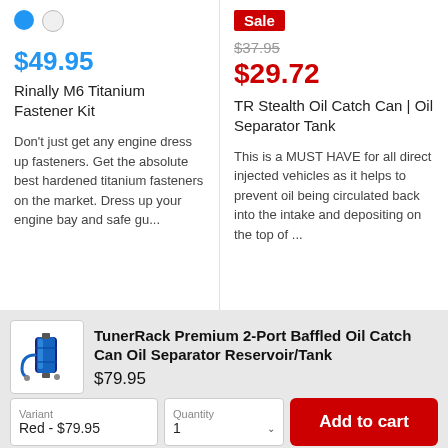$49.95
Rinally M6 Titanium Fastener Kit
Don't just get any engine dress up fasteners. Get the absolute best hardened titanium fasteners on the market. Dress up your engine bay and safe gu...
Sale
$37.95
$29.72
TR Stealth Oil Catch Can | Oil Separator Tank
This is a MUST HAVE for all direct injected vehicles as it helps to prevent oil being circulated back into the intake and depositing on the top of ...
[Figure (photo): Product image of TunerRack Premium 2-Port Baffled Oil Catch Can, showing a blue cylindrical reservoir with fittings]
TunerRack Premium 2-Port Baffled Oil Catch Can Oil Separator Reservoir/Tank
$79.95
Variant
Red - $79.95
Quantity
1
Add to cart